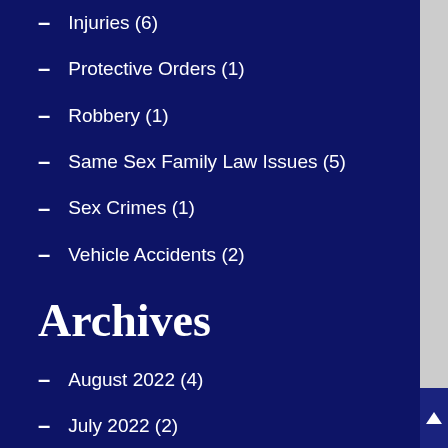Injuries (6)
Protective Orders (1)
Robbery (1)
Same Sex Family Law Issues (5)
Sex Crimes (1)
Vehicle Accidents (2)
Archives
August 2022 (4)
July 2022 (2)
June 2022 (3)
May 2022 (2)
April 2022 (3)